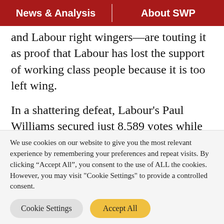News & Analysis | About SWP
and Labour right wingers—are touting it as proof that Labour has lost the support of working class people because it is too left wing.
In a shattering defeat, Labour's Paul Williams secured just 8,589 votes while Tory Jill Mortimer grabbed 15,529. The Tory majority
We use cookies on our website to give you the most relevant experience by remembering your preferences and repeat visits. By clicking "Accept All", you consent to the use of ALL the cookies. However, you may visit "Cookie Settings" to provide a controlled consent.